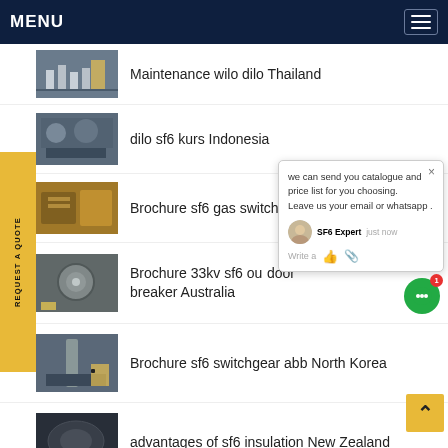MENU
Maintenance wilo dilo Thailand
dilo sf6 kurs Indonesia
Brochure sf6 gas switch
Brochure 33kv sf6 outdoor breaker Australia
Brochure sf6 switchgear abb North Korea
advantages of sf6 insulation New Zealand
[Figure (screenshot): Chat popup widget: 'we can send you catalogue and price list for you choosing. Leave us your email or whatsapp. SF6 Expert just now. Write a message input area.']